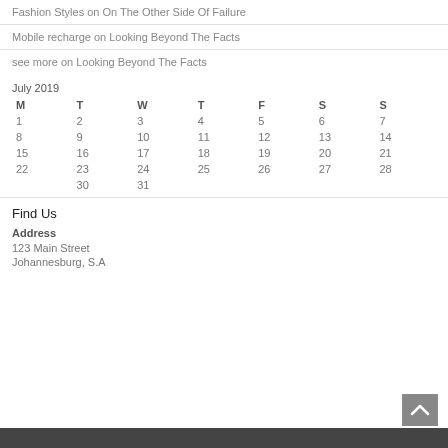Fashion Styles on On The Other Side Of Failure
Mobile recharge on Looking Beyond The Facts
see more on Looking Beyond The Facts
| M | T | W | T | F | S | S |
| --- | --- | --- | --- | --- | --- | --- |
| 1 | 2 | 3 | 4 | 5 | 6 | 7 |
| 8 | 9 | 10 | 11 | 12 | 13 | 14 |
| 15 | 16 | 17 | 18 | 19 | 20 | 21 |
| 22 | 23 | 24 | 25 | 26 | 27 | 28 |
|  | 30 | 31 |  |  |  |  |
Find Us
Address
123 Main Street
Johannesburg, S.A